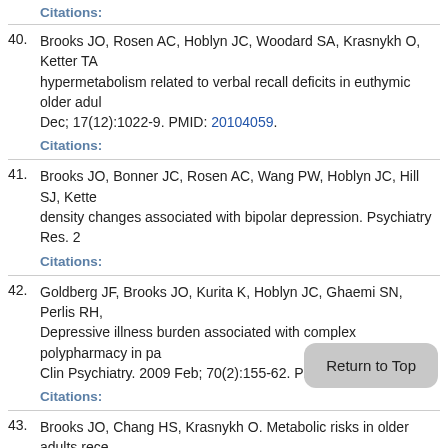Citations:
40. Brooks JO, Rosen AC, Hoblyn JC, Woodard SA, Krasnykh O, Ketter TA hypermetabolism related to verbal recall deficits in euthymic older adults Dec; 17(12):1022-9. PMID: 20104059.
Citations:
41. Brooks JO, Bonner JC, Rosen AC, Wang PW, Hoblyn JC, Hill SJ, Kette density changes associated with bipolar depression. Psychiatry Res. 2
Citations:
42. Goldberg JF, Brooks JO, Kurita K, Hoblyn JC, Ghaemi SN, Perlis RH, Depressive illness burden associated with complex polypharmacy in patients Clin Psychiatry. 2009 Feb; 70(2):155-62. PMID: 19210946.
Citations:
43. Brooks JO, Chang HS, Krasnykh O. Metabolic risks in older adults Psychiatry Rep. 2009 Feb; 11(1):33-40. PMID: 19187706.
Citations:
44. Hoblyn JC, Balt SL, Woodard SA, Brooks JO. disorders disorder. Psychiatr Serv. 2009 Jan; 60(1):50-5.
Citations: